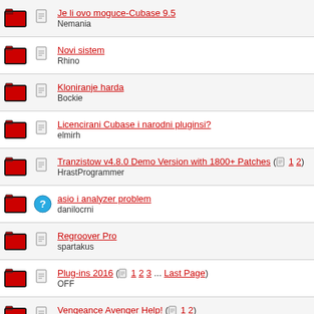Je li ovo moguce-Cubase 9.5
Nemania
Novi sistem
Rhino
Kloniranje harda
Bockie
Licencirani Cubase i narodni pluginsi?
elmirh
Tranzistow v4.8.0 Demo Version with 1800+ Patches (1 2)
HrastProgrammer
asio i analyzer problem
danilocrni
Regroover Pro
spartakus
Plug-ins 2016 (1 2 3 ... Last Page)
OFF
Vengeance Avenger Help! (1 2)
Nemania
Kontakt biblioteke
Bole97
Soundtoys Little Plate (EMT 140 emulacija)
komil
Ko kaze da DAW ne moze da skuva kafu ? [Making Coffee with Bitwig studio
euphoric